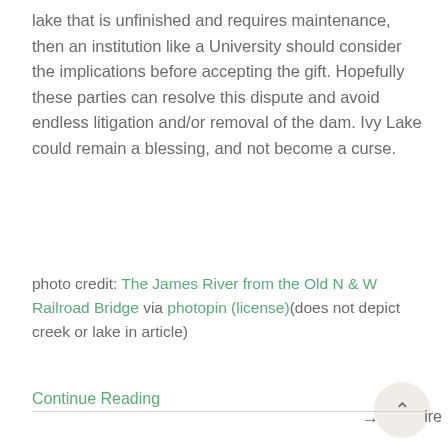lake that is unfinished and requires maintenance, then an institution like a University should consider the implications before accepting the gift. Hopefully these parties can resolve this dispute and avoid endless litigation and/or removal of the dam. Ivy Lake could remain a blessing, and not become a curse.
photo credit: The James River from the Old N & W Railroad Bridge via photopin (license)(does not depict creek or lake in article)
Continue Reading →
[Figure (other): Social sharing bar with Facebook, Twitter, Google+, LinkedIn icons, and a scroll-to-top button with chevron and 'share' label]